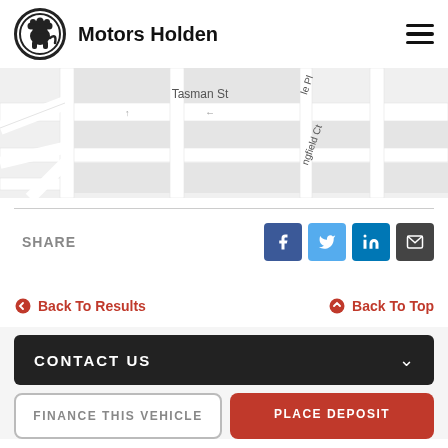Motors Holden
[Figure (map): Street map showing Tasman St and surrounding roads including Springfield Ct]
SHARE
[Figure (infographic): Social share buttons: Facebook, Twitter, LinkedIn, Email]
Back To Results
Back To Top
CONTACT US
FINANCE THIS VEHICLE
PLACE DEPOSIT